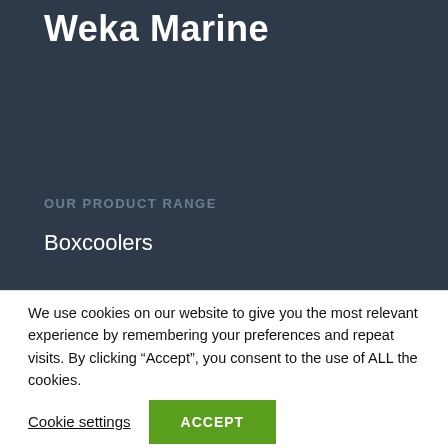Weka Marine
OUR PRODUCT RANGE
Boxcoolers
We use cookies on our website to give you the most relevant experience by remembering your preferences and repeat visits. By clicking “Accept”, you consent to the use of ALL the cookies.
Cookie settings | ACCEPT